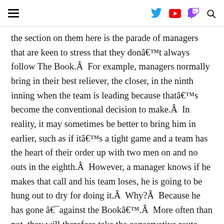≡  [Twitter] [YouTube] [Twitch] [Search]
the section on them here is the parade of managers that are keen to stress that they don't always follow The Book.Â  For example, managers normally bring in their best reliever, the closer, in the ninth inning when the team is leading because that's become the conventional decision to make.Â  In reality, it may sometimes be better to bring him in earlier, such as if it's a tight game and a team has the heart of their order up with two men on and no outs in the eighth.Â  However, a manager knows if he makes that call and his team loses, he is going to be hung out to dry for doing it.Â  Why?Â  Because he has gone âagainst the Bookâ.Â  More often than not, they will therefore take the conservative route, particularly if their team...